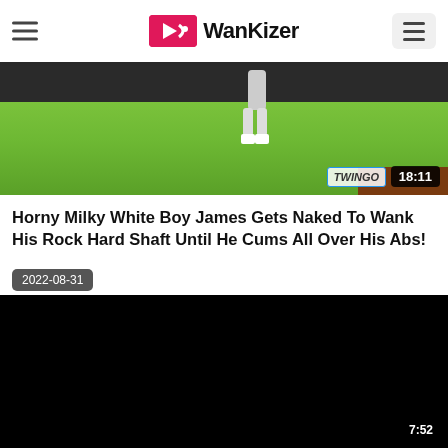WanKizer
[Figure (screenshot): Video thumbnail showing a green grass rug with a person's leg visible, dark couch at top, duration badge 18:11 and TWINGO watermark]
Horny Milky White Boy James Gets Naked To Wank His Rock Hard Shaft Until He Cums All Over His Abs!
2022-08-31
[Figure (screenshot): Black video thumbnail with duration badge 7:52 in bottom right corner]